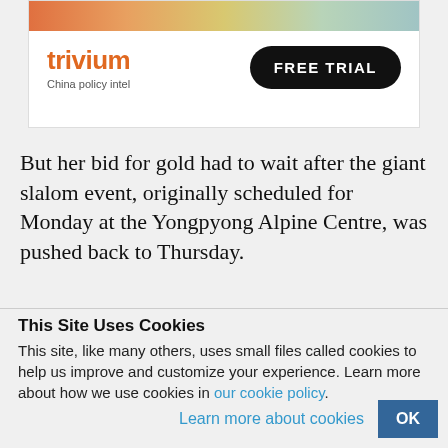[Figure (other): Trivium China policy intel advertisement banner with gradient color bar at top, orange 'trivium' logo with tagline 'China policy intel', and black rounded 'FREE TRIAL' button]
But her bid for gold had to wait after the giant slalom event, originally scheduled for Monday at the Yongpyong Alpine Centre, was pushed back to Thursday.
This Site Uses Cookies
This site, like many others, uses small files called cookies to help us improve and customize your experience. Learn more about how we use cookies in our cookie policy.
Learn more about cookies
OK